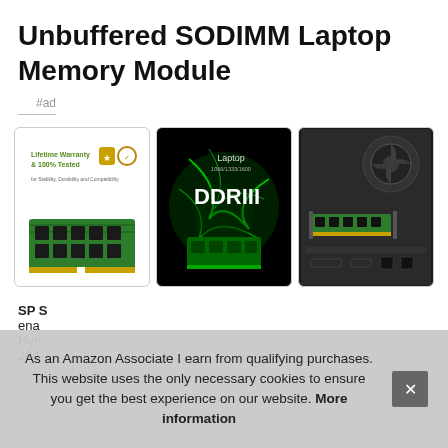Unbuffered SODIMM Laptop Memory Module
#ad
[Figure (photo): Three product images side by side: left shows a green laptop RAM module with 'Lifetime Warranty & 100% Tested' badge; center shows a DDR3 laptop memory advertisement with green energy lightning effects and text 'Laptop 1066/1333/1600 DDRIII'; right shows a laptop interior with RAM slot installed.]
SP S
ena
Hyn
204
As an Amazon Associate I earn from qualifying purchases. This website uses the only necessary cookies to ensure you get the best experience on our website. More information